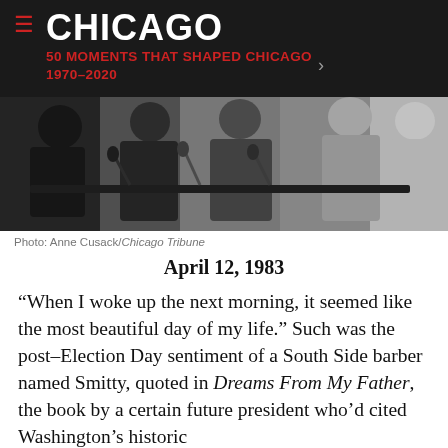CHICAGO — 50 MOMENTS THAT SHAPED CHICAGO 1970–2020
[Figure (photo): Black and white photograph of people at a press conference or podium, with microphones visible]
Photo: Anne Cusack/Chicago Tribune
April 12, 1983
“When I woke up the next morning, it seemed like the most beautiful day of my life.” Such was the post–Election Day sentiment of a South Side barber named Smitty, quoted in Dreams From My Father, the book by a certain future president who’d cited Washington’s historic